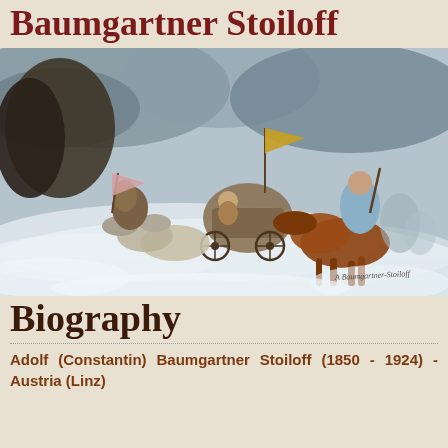Baumgartner Stoiloff
[Figure (illustration): Oil painting depicting a horse-drawn carriage scene in a winter snowstorm. Several horsemen carry flags, a covered wagon is pulled by horses through swirling snow, and a soldier rides alongside on a chestnut horse carrying a rifle. The scene is dynamic with wind and snow. Artist signature visible in lower right corner.]
Biography
Adolf (Constantin) Baumgartner Stoiloff (1850 - 1924) - Austria (Linz)